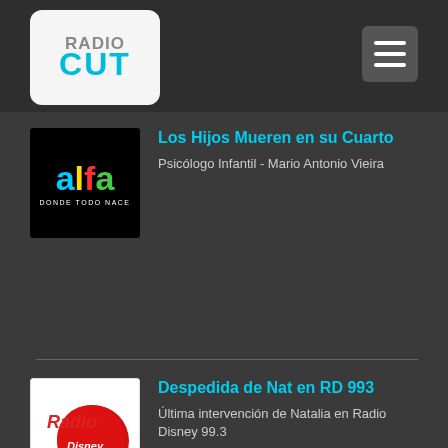RadioCut
Los Hijos Mueren en su Cuarto - Psicólogo Infantil - Mario Antonio Vieira
Despedida de Nat en RD 993 - Última intervención de Natalia en Radio Disney 99.3
Verdadera historia de la humanidad p 1 - Sumerios, grises, Iempira, Nibiru.